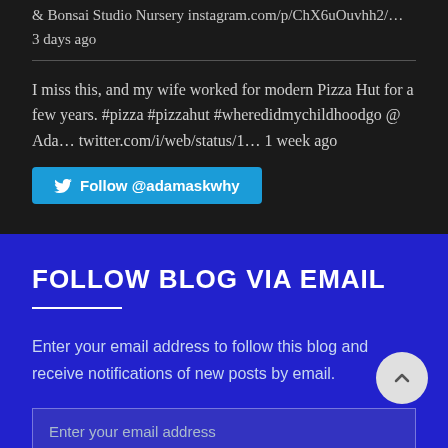& Bonsai Studio Nursery instagram.com/p/ChX6uOuvhh2/…
3 days ago
I miss this, and my wife worked for modern Pizza Hut for a few years. #pizza #pizzahut #wheredidmychildhoodgo @ Ada… twitter.com/i/web/status/1… 1 week ago
[Figure (other): Twitter Follow button with bird icon labeled 'Follow @adamaskwhy']
FOLLOW BLOG VIA EMAIL
Enter your email address to follow this blog and receive notifications of new posts by email.
Enter your email address